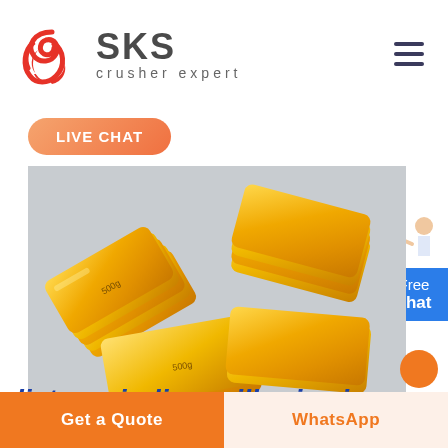[Figure (logo): SKS Crusher Expert logo with red swirl graphic and SKS text]
LIVE CHAT
[Figure (photo): Multiple gold bars/ingots (500g 金锭) stacked and arranged on a gray surface]
500g金锭
lister grinding mill price in
[Figure (illustration): Free chat widget with person figure and blue button]
Get a Quote
WhatsApp